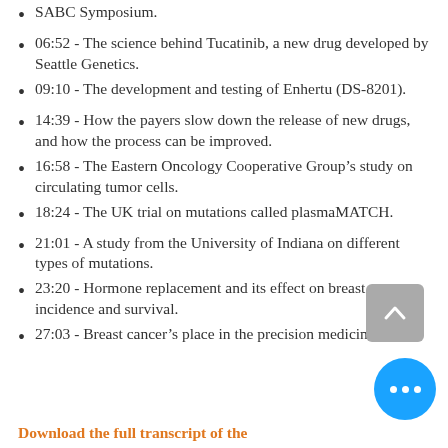SABC Symposium.
06:52 - The science behind Tucatinib, a new drug developed by Seattle Genetics.
09:10 - The development and testing of Enhertu (DS-8201).
14:39 - How the payers slow down the release of new drugs, and how the process can be improved.
16:58 - The Eastern Oncology Cooperative Group’s study on circulating tumor cells.
18:24 - The UK trial on mutations called plasmaMATCH.
21:01 - A study from the University of Indiana on different types of mutations.
23:20 - Hormone replacement and its effect on breast cancer incidence and survival.
27:03 - Breast cancer’s place in the precision medicine field.
Download the full transcript of the